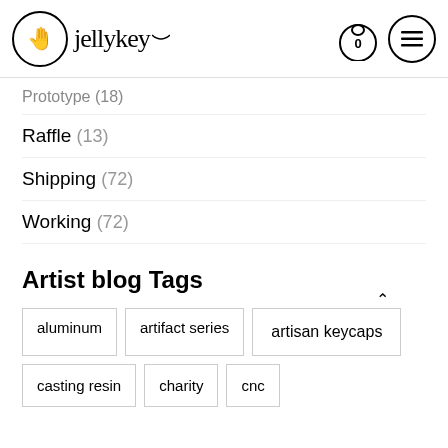Jellykey — 0 items in cart
Prototype (18)
Raffle (13)
Shipping (72)
Working (72)
Artist blog Tags
aluminum
artifact series
artisan keycaps
casting resin
charity
cnc